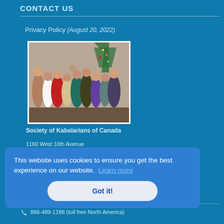CONTACT US
Privacy Policy (August 20, 2022)
[Figure (photo): Group photo of approximately 10 people standing together in front of a Christmas tree, dressed in business and semi-formal attire.]
Society of Kabalarians of Canada
1160 West 10th Avenue
This website uses cookies to ensure you get the best experience on our website. Learn more
Got it!
TALK TO US
866-489-1188 (toll free North America)